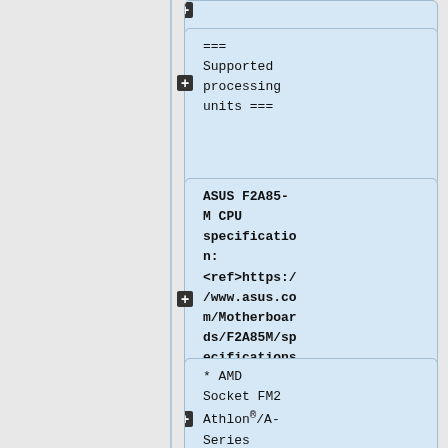(truncated top card)
=== Supported processing units ===
ASUS F2A85-M CPU specification: <ref>https://www.asus.com/Motherboards/F2A85M/specifications/</ref>
* AMD Socket FM2 Athlon®/A-Series